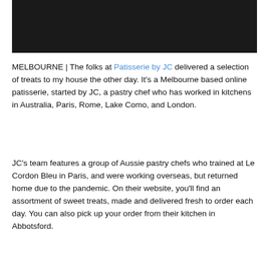[Figure (photo): Dark/black image block at the top of the page, likely a photo of pastry or food.]
MELBOURNE | The folks at Patisserie by JC delivered a selection of treats to my house the other day. It's a Melbourne based online patisserie, started by JC, a pastry chef who has worked in kitchens in Australia, Paris, Rome, Lake Como, and London.
JC's team features a group of Aussie pastry chefs who trained at Le Cordon Bleu in Paris, and were working overseas, but returned home due to the pandemic. On their website, you'll find an assortment of sweet treats, made and delivered fresh to order each day. You can also pick up your order from their kitchen in Abbotsford.